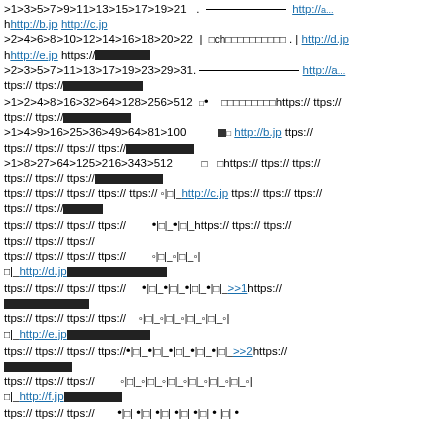>1>3>5>7>9>11>13>15>17>19>21  .  http://... hhttp://b.jp http://c.jp
>2>4>6>8>10>12>14>16>18>20>22 | ch... . http://d.jp hhttp://e.jp https://...
>2>3>5>7>11>13>17>19>23>29>31. http://a... ttps:// ttps://...
>1>2>4>8>16>32>64>128>256>512 ... https:// ttps:// ttps:// ttps://...
>1>4>9>16>25>36>49>64>81>100 ... http://b.jp ttps:// ttps:// ttps:// ttps:// ttps://...
>1>8>27>64>125>216>343>512 ... https:// ttps:// ttps:// ttps:// ttps:// ttps://...
ttps:// ttps:// ttps:// ttps:// ttps:// o|[]|_ http://c.jp ttps:// ttps:// ttps:// ttps:// ttps://...
ttps:// ttps:// ttps:// ttps:// ... https:// ttps:// ttps:// ttps:// ttps:// ttps://
ttps:// ttps:// ttps:// ttps:// o|[]|_o|[]|_o|
[]|_http://d.jp...
ttps:// ttps:// ttps:// ttps:// •|[]|_•|[]|_•|[]|_•|[]|_>>1 https://...
ttps:// ttps:// ttps:// ttps:// o|[]|_o|[]|_o|[]|_o|[]|_o|
[]|_http://e.jp...
ttps:// ttps:// ttps:// ttps://•|[]|_•|[]|_•|[]|_•|[]|_•|[]|_>>2 https://...
ttps:// ttps:// ttps:// o|[]|_o|[]|_o|[]|_o|[]|_o|[]|_o|[]|_o|
[]|_http://f.jp...
ttps:// ttps:// ttps:// • |[]| • |[]| • |[]| • |[]| • |[]| • |[]| • |[]| •